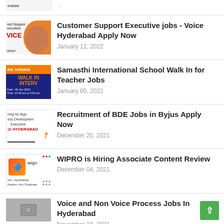Customer Support Executive jobs - Voice Hyderabad Apply Now
January 11, 2022
Samasthi International School Walk In for Teacher Jobs
January 05, 2022
Recruitment of BDE Jobs in Byjus Apply Now
December 20, 2021
WIPRO is Hiring Associate Content Review
December 04, 2021
Voice and Non Voice Process Jobs In Hyderabad
November 18, 2021